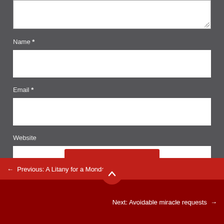[Figure (screenshot): Text area input box (comment field), partially visible at top of page, white rectangle on dark gray background]
Name *
[Figure (screenshot): Name input field, white rectangle on dark gray background]
Email *
[Figure (screenshot): Email input field, white rectangle on dark gray background]
Website
[Figure (screenshot): Website input field, white rectangle on dark gray background]
[Figure (other): Red circular scroll-to-top button with upward arrow icon]
← Previous: A Litany for a Monday
Next: Avoidable miracle requests →